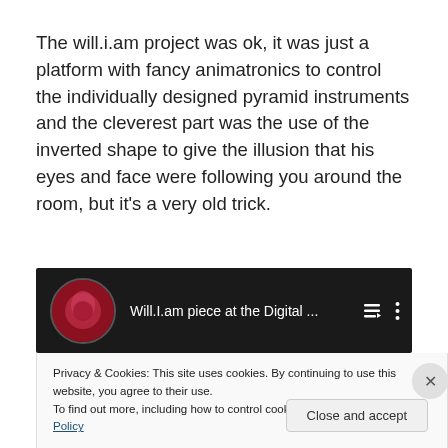The will.i.am project was ok, it was just a platform with fancy animatronics to control the individually designed pyramid instruments and the cleverest part was the use of the inverted shape to give the illusion that his eyes and face were following you around the room, but it's a very old trick.
[Figure (screenshot): YouTube-style video thumbnail showing 'Will.I.am piece at the Digital ...' with a circular profile image and video controls]
Privacy & Cookies: This site uses cookies. By continuing to use this website, you agree to their use.
To find out more, including how to control cookies, see here: Cookie Policy
Close and accept